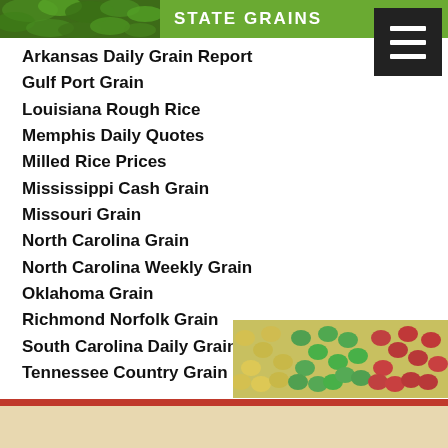[Figure (photo): Green header bar with plant/leaf photo on left and 'STATE GRAINS' text in white bold capitals on green background]
Arkansas Daily Grain Report
Gulf Port Grain
Louisiana Rough Rice
Memphis Daily Quotes
Milled Rice Prices
Mississippi Cash Grain
Missouri Grain
North Carolina Grain
North Carolina Weekly Grain
Oklahoma Grain
Richmond Norfolk Grain
South Carolina Daily Grain
Tennessee Country Grain
[Figure (photo): Close-up photo of colorful seeds/beans in yellow, green, and red]